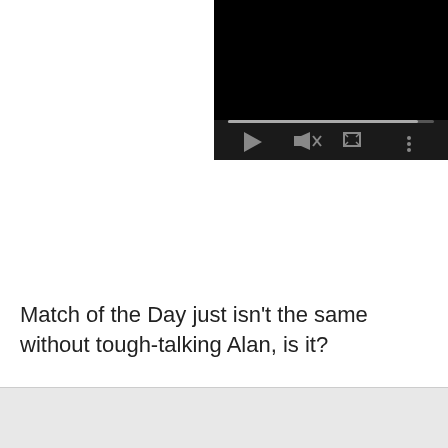[Figure (screenshot): Video player screenshot showing a dark/black video player interface with playback controls: play button (triangle), mute button (speaker with X), fullscreen button, and options menu (three dots). A progress bar is visible near the bottom of the player. The upper-left portion of the player is black/dark content area.]
Match of the Day just isn't the same without tough-talking Alan, is it?
Hansen called time on his memorable stint at the